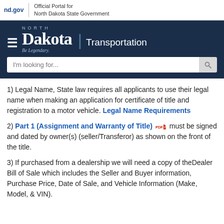nd.gov | Official Portal for North Dakota State Government
[Figure (logo): North Dakota Transportation navigation header with hamburger menu, North Dakota logo, Transportation label, and search bar reading 'I'm looking for...']
1) Legal Name, State law requires all applicants to use their legal name when making an application for certificate of title and registration to a motor vehicle. Legal Name Requirements
2) Part 1 (Assignment and Warranty of Title) [PDF icon] must be signed and dated by owner(s) (seller/Transferor) as shown on the front of the title.
3) If purchased from a dealership we will need a copy of the Dealer Bill of Sale which includes the Seller and Buyer information, Purchase Price, Date of Sale, and Vehicle Information (Make, Model, & VIN).